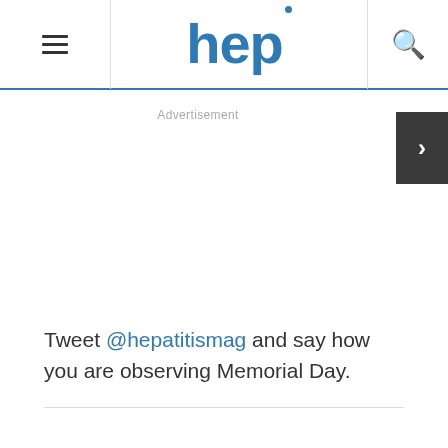hep
Advertisement
Tweet @hepatitismag and say how you are observing Memorial Day.